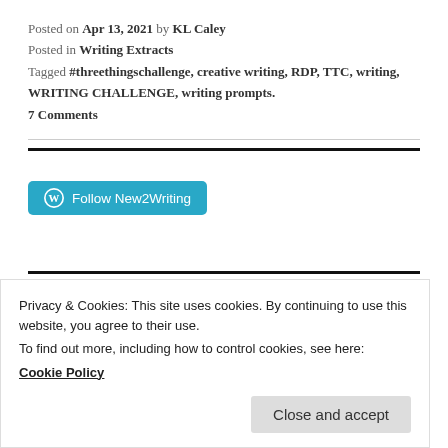Posted on Apr 13, 2021 by KL Caley
Posted in Writing Extracts
Tagged #threethingschallenge, creative writing, RDP, TTC, writing, WRITING CHALLENGE, writing prompts.
7 Comments
Follow New2Writing
Follow New2Writing
Privacy & Cookies: This site uses cookies. By continuing to use this website, you agree to their use.
To find out more, including how to control cookies, see here:
Cookie Policy
Close and accept